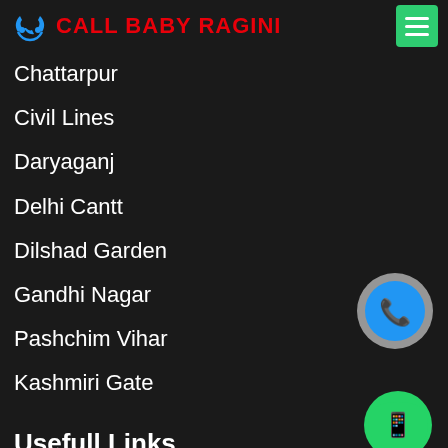CALL BABY RAGINI
Chattarpur
Civil Lines
Daryaganj
Delhi Cantt
Dilshad Garden
Gandhi Nagar
Pashchim Vihar
Kashmiri Gate
[Figure (illustration): Blue phone call button icon (circle with phone handset)]
[Figure (illustration): Green WhatsApp icon (speech bubble with phone handset)]
Usefull Links
Gazipur